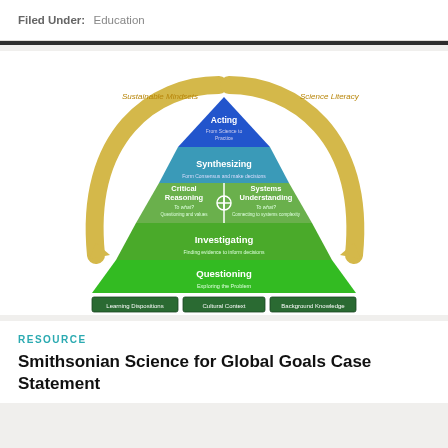Filed Under: Education
[Figure (infographic): Pyramid diagram showing layers of science learning: Questioning (Exploring the Problem) at base, Investigating (Finding evidence to inform decisions), Critical Reasoning (To what? Questioning and values) and Systems Understanding (To what? Connecting to systems complexity) in middle, Synthesizing (Form Consensus and make decisions), Acting (From Science to Practice) at top. Below pyramid: three boxes labeled Learning Dispositions, Cultural Context, Background Knowledge. Two gold curved arrows on sides labeled Sustainable Mindsets (left) and Science Literacy (right).]
RESOURCE
Smithsonian Science for Global Goals Case Statement